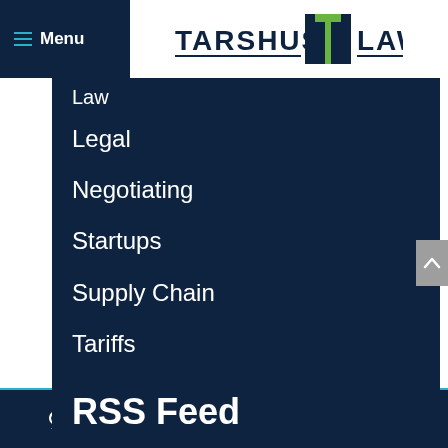Menu | Tarshus Law Firm
Law
Legal
Negotiating
Startups
Supply Chain
Tariffs
RSS Feed
Subscribe To This Blog's Feed
LIVE CHAT  TEXT US